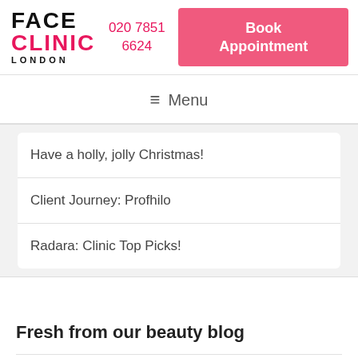FACE CLINIC LONDON | 020 7851 6624 | Book Appointment
≡ Menu
Have a holly, jolly Christmas!
Client Journey: Profhilo
Radara: Clinic Top Picks!
Fresh from our beauty blog